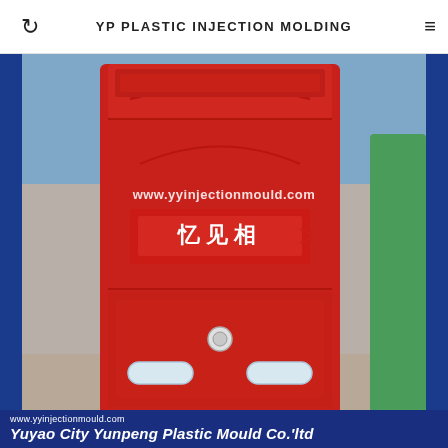YP PLASTIC INJECTION MOLDING
[Figure (photo): Red plastic mailbox/letterbox product with a name label slot in the middle showing Chinese characters and a watermark URL www.yyinjectionmould.com. The mailbox has a mail slot at the top, a key lock near the bottom center, and two oval transparent windows on the lower section. A green item is partially visible on the right edge. The background shows a wooden surface.]
www.yyinjectionmould.com
Yuyao City Yunpeng Plastic Mould Co.'ltd